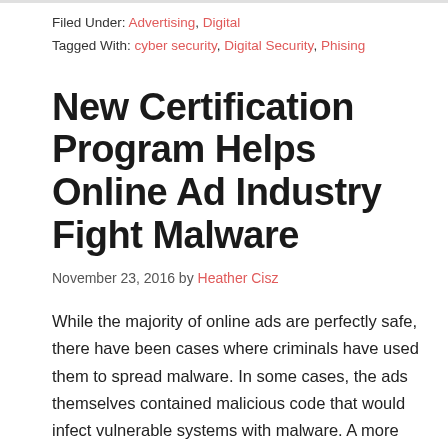Filed Under: Advertising, Digital
Tagged With: cyber security, Digital Security, Phising
New Certification Program Helps Online Ad Industry Fight Malware
November 23, 2016 by Heather Cisz
While the majority of online ads are perfectly safe, there have been cases where criminals have used them to spread malware. In some cases, the ads themselves contained malicious code that would infect vulnerable systems with malware. A more common technique used by